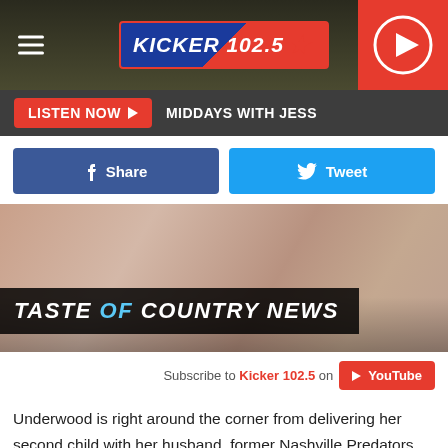KICKER 102.5
LISTEN NOW  MIDDAYS WITH JESS
Share  Tweet
[Figure (screenshot): Video thumbnail showing a newborn baby with 'TASTE OF COUNTRY NEWS' overlay text]
Subscribe to Kicker 102.5 on YouTube
Underwood is right around the corner from delivering her second child with her husband, former Nashville Predators player Mike Fisher, which she has revealed is another boy.
The superstar announced her second pregnancy on Aug. 8,